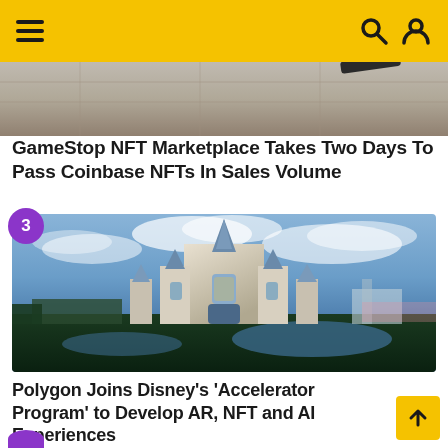Navigation header with hamburger menu and search/user icons
[Figure (photo): Partial aerial photo showing stone/brick ground surface]
GameStop NFT Marketplace Takes Two Days To Pass Coinbase NFTs In Sales Volume
[Figure (photo): Aerial photo of Cinderella's Castle at Walt Disney World Magic Kingdom at dusk with blue and purple sky and surrounding park and waterways]
Polygon Joins Disney's 'Accelerator Program' to Develop AR, NFT and AI Experiences